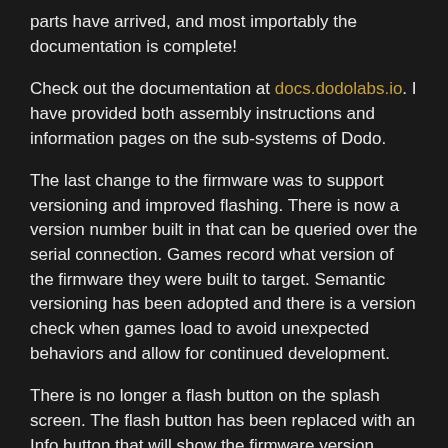parts have arrived, and most importably the documentation is complete!
Check out the documentation at docs.dodolabs.io. I have provided both assembly instructions and information pages on the sub-systems of Dodo.
The last change to the firmware was to support versioning and improved flashing. There is now a version number built in that can be queried over the serial connection. Games record what version of the firmware they were built to target. Semantic versioning has been adopted and there is a version check when games load to avoid unexpected behaviors and allow for continued development.
There is no longer a flash button on the splash screen. The flash button has been replaced with an Info button that will show the firmware version. Dodo listens for a flash command as it sits on the splash screen indefinitely. The user experience is now much improved.